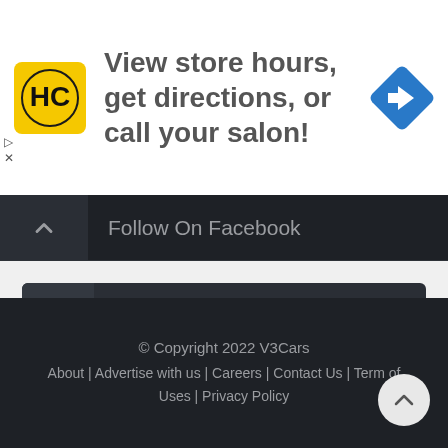[Figure (infographic): Ad banner for Hair Club showing logo, text 'View store hours, get directions, or call your salon!' and a blue directions icon]
Follow On Facebook
Follow On Instagram
Follow On Twitter
© Copyright 2022 V3Cars
About | Advertise with us | Careers | Contact Us | Term of Uses | Privacy Policy